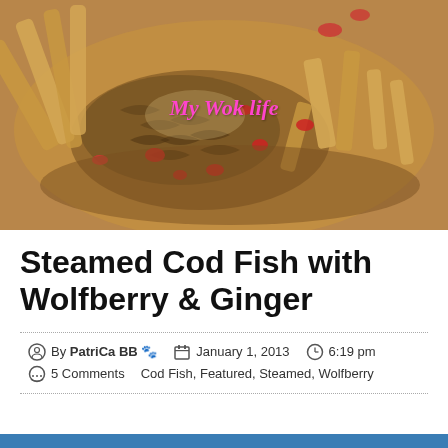[Figure (photo): Close-up photo of steamed cod fish with wolfberry (red berries) and ginger strips in a brown sauce, with watermark text 'My Wok life' in pink italic font]
Steamed Cod Fish with Wolfberry & Ginger
By PatriCa BB 🐾  January 1, 2013  6:19 pm
5 Comments  Cod Fish, Featured, Steamed, Wolfberry